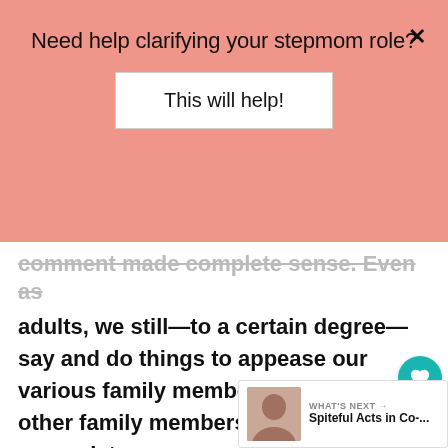Need help clarifying your stepmom role?
This will help!
comment made complete sense. Even as adults, we still—to a certain degree—say and do things to appease our various family members that perhaps other family members would not appreciate.
But what can I do about it? It's driving me crazy!
Nine times out of ten, these personal preference differences are not a big deal.